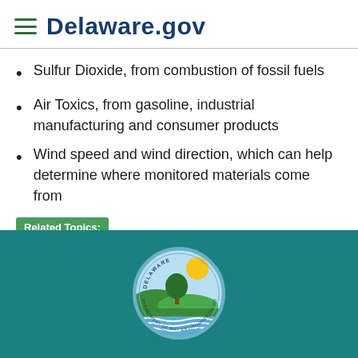Delaware.gov
Sulfur Dioxide, from combustion of fossil fuels
Air Toxics, from gasoline, industrial manufacturing and consumer products
Wind speed and wind direction, which can help determine where monitored materials come from
Related Topics: air quality, mmp, monitor, monitoring, movable
[Figure (logo): Delaware Department of Natural Resources and Environmental Control circular seal with tree, sun, hills, and water]